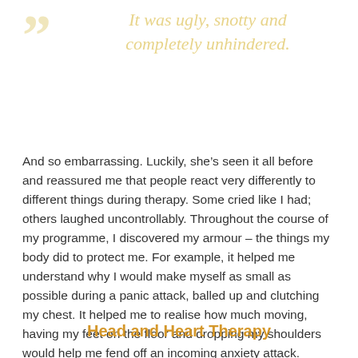“”
It was ugly, snotty and completely unhindered.
And so embarrassing. Luckily, she’s seen it all before and reassured me that people react very differently to different things during therapy. Some cried like I had; others laughed uncontrollably. Throughout the course of my programme, I discovered my armour – the things my body did to protect me. For example, it helped me understand why I would make myself as small as possible during a panic attack, balled up and clutching my chest. It helped me to realise how much moving, having my feet on the floor and dropping my shoulders would help me fend off an incoming anxiety attack.
Head and Heart Therapy